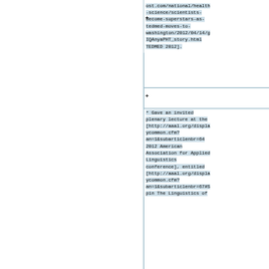ost.com/national/health-science/scientists-become-superstars-as-tedmed-moves-to-washington/2012/04/14/gIQAnyaPHT_story.html TEDMED 2012].
* Gave an invited plenary lecture at the [http://aaal.org/displaycommon.cfm?an=1&subarticlenbr=64 2012 American Association for Applied Linguistics conference], entitled [http://aaal.org/displaycommon.cfm?an=1&subarticlenbr=67#Spin The Linguistics of